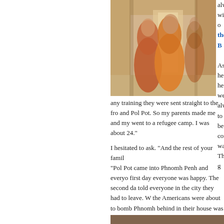[Figure (photo): Two Buddhist monks in orange robes walking through a corridor, photographed from behind with a blurred/motion effect. The corridor appears to be a temple or monastery.]
always with o the B As he he we alway to be count wante The g
any training they were sent straight to the fro and Pol Pot. So my parents made me and my went to a refugee camp. I was about 24."
I hesitated to ask. "And the rest of your famil
"Pol Pot came into Phnomh Penh and everyo first day everyone was happy. The second da told everyone in the city they had to leave. W the Americans were about to bomb Phnomh behind in their house was shot. My parents a go. There was no one left in the city. And my all the way to a refugee camp in Vietnam."
[Figure (photo): Partial image at bottom of page, appears to be another photograph.]